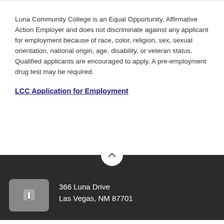Luna Community College is an Equal Opportunity, Affirmative Action Employer and does not discriminate against any applicant for employment because of race, color, religion, sex, sexual orientation, national origin, age, disability, or veteran status. Qualified applicants are encouraged to apply. A pre-employment drug test may be required.
LCC Application for Employment
366 Luna Drive
Las Vegas, NM 87701